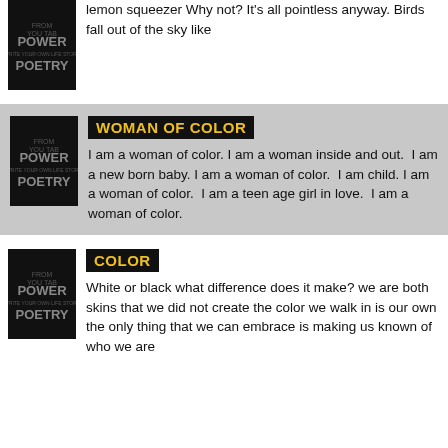[Figure (illustration): Power Poetry book cover — black background with 'POWER WRITE YOUR OWN LIFE STORY POETRY' text in gray/white letters]
lemon squeezer Why not? It's all pointless anyway. Birds fall out of the sky like
[Figure (illustration): Power Poetry book cover — black background with 'POWER WRITE YOUR OWN LIFE STORY POETRY' text in gray/white letters]
WOMAN OF COLOR
I am a woman of color. I am a woman inside and out.  I am a new born baby. I am a woman of color.  I am child. I am a woman of color.  I am a teen age girl in love.  I am a woman of color.
[Figure (illustration): Power Poetry book cover — black background with 'POWER WRITE YOUR OWN LIFE STORY POETRY' text in gray/white letters]
COLOR
White or black what difference does it make? we are both skins that we did not create the color we walk in is our own the only thing that we can embrace is making us known of who we are